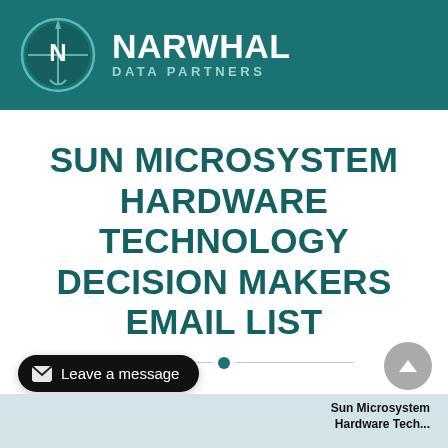[Figure (logo): Narwhal Data Partners logo — circular compass/narwhal icon with letter N, white on teal background]
NARWHAL DATA PARTNERS
SUN MICROSYSTEM HARDWARE TECHNOLOGY DECISION MAKERS EMAIL LIST
Leave a message
Sun Microsystem Hardware Tech...